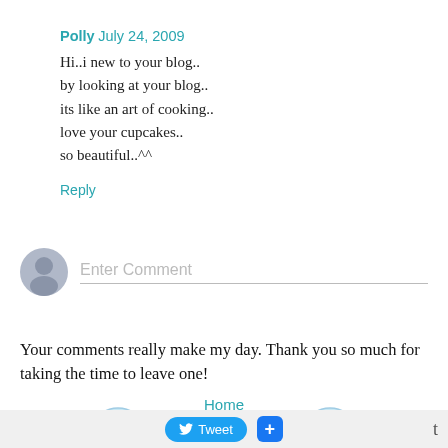Polly July 24, 2009
Hi..i new to your blog..
by looking at your blog..
its like an art of cooking..
love your cupcakes..
so beautiful..^^
Reply
Enter Comment
Your comments really make my day. Thank you so much for taking the time to leave one!
Home
[Figure (illustration): Newer Posts oven mitt button in light blue with red cursive text]
[Figure (illustration): Older Posts oven mitt button in light blue with red cursive text]
Tweet
+
t